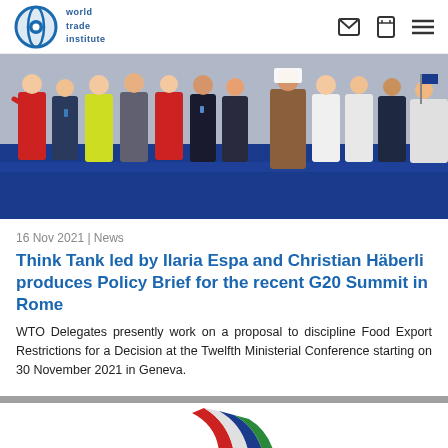World Trade Institute
[Figure (photo): Group of people standing on a stage, including individuals in Red Cross uniforms, formal suits, medical coats, and traditional dress, on a blue-lit stage]
16 Nov 2021 | News
Think Tank led by Ilaria Espa and Christian Häberli produces Policy Brief for the recent G20 Summit in Rome
WTO Delegates presently work on a proposal to discipline Food Export Restrictions for a Decision at the Twelfth Ministerial Conference starting on 30 November 2021 in Geneva.
[Figure (logo): G20 Italy 2021 logo with red, white, blue and green ribbon swoosh design]